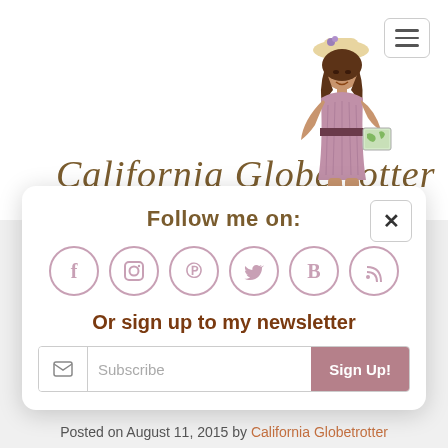California Globetrotter — Tales from Pretty Little Places
[Figure (illustration): Cartoon illustration of a woman in a pink/mauve dress and hat holding a map, serving as the blog mascot for California Globetrotter]
Follow me on:
[Figure (infographic): Row of 6 circular social media icons: Facebook (f), Instagram (camera), Pinterest (P), Twitter (bird), Bloglovin (B), RSS feed]
Or sign up to my newsletter
Subscribe  Sign Up!
Posted on August 11, 2015 by California Globetrotter